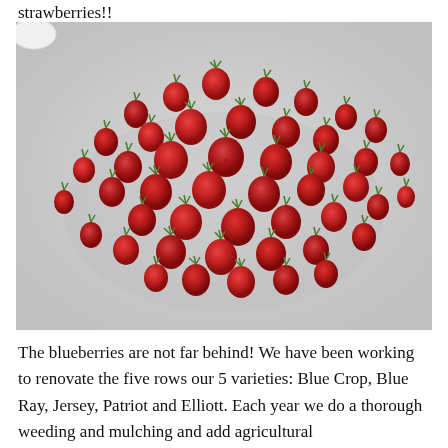strawberries!!
[Figure (photo): A pile of freshly picked red strawberries with green stems spread out on a light grey/white surface. A white bowl or plate is partially visible in the upper left corner.]
The blueberries are not far behind! We have been working to renovate the five rows our 5 varieties: Blue Crop, Blue Ray, Jersey, Patriot and Elliott. Each year we do a thorough weeding and mulching and add agricultural